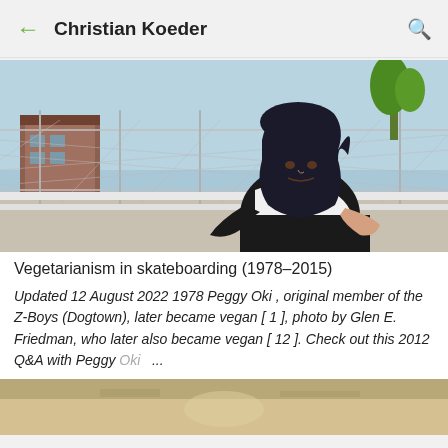Christian Koeder
[Figure (photo): A young Asian woman skateboarding or posing near a chain-link fence with buildings and a palm tree in the background. Vintage photo, likely 1970s.]
Vegetarianism in skateboarding (1978–2015)
Updated 12 August 2022 1978 Peggy Oki , original member of the Z-Boys (Dogtown), later became vegan [ 1 ], photo by Glen E. Friedman, who later also became vegan [ 12 ]. Check out this 2012  Q&A with Peggy Oki ...
[Figure (photo): Bottom portion of a second image, partially cut off at the bottom of the page.]